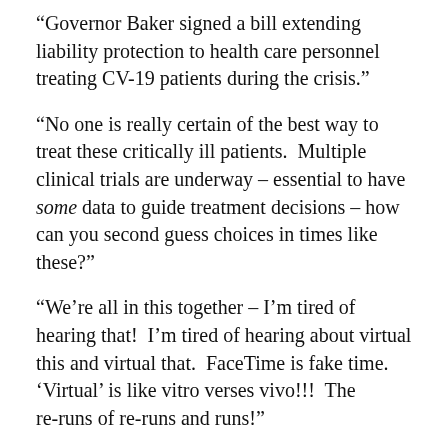“Governor Baker signed a bill extending liability protection to health care personnel treating CV-19 patients during the crisis.”
“No one is really certain of the best way to treat these critically ill patients. Multiple clinical trials are underway – essential to have some data to guide treatment decisions – how can you second guess choices in times like these?”
“We’re all in this together – I’m tired of hearing that! I’m tired of hearing about virtual this and virtual that. FaceTime is fake time. ‘Virtual’ is like vitro verses vivo!!! The re-runs of re-runs and runs!”